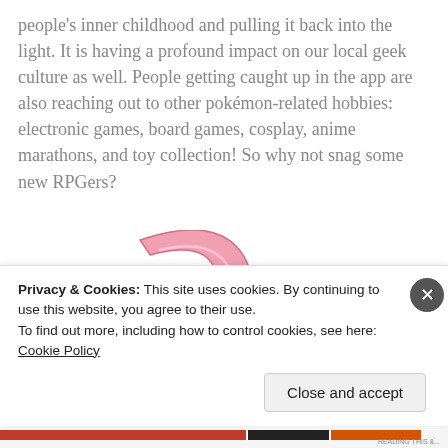people's inner childhood and pulling it back into the light. It is having a profound impact on our local geek culture as well. People getting caught up in the app are also reaching out to other pokémon-related hobbies: electronic games, board games, cosplay, anime marathons, and toy collection! So why not snag some new RPGers?
[Figure (illustration): Illustration of a pink Slowpoke Pokémon character, showing the head and curled tail, viewed from behind/side]
Privacy & Cookies: This site uses cookies. By continuing to use this website, you agree to their use.
To find out more, including how to control cookies, see here: Cookie Policy
Close and accept